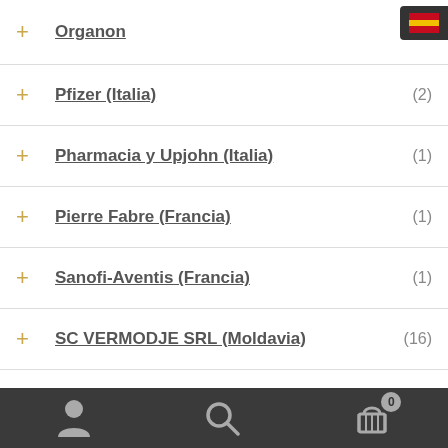Organon
Pfizer (Italia) (2)
Pharmacia y Upjohn (Italia) (1)
Pierre Fabre (Francia) (1)
Sanofi-Aventis (Francia) (1)
SC VERMODJE SRL (Moldavia) (16)
Sopharma (Bulgaria) (1)
Laboratorios SP (Moldavia) (25)
Sun Pharmaceuticals (India) (3)
Navigation bar with user, search, and cart icons